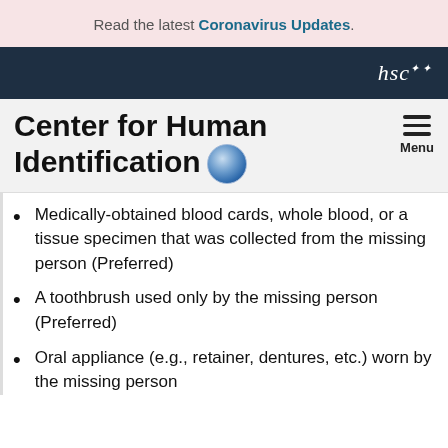Read the latest Coronavirus Updates.
[Figure (logo): HSC (Health Science Center) logo text in white on dark navy background]
Center for Human Identification
Medically-obtained blood cards, whole blood, or a tissue specimen that was collected from the missing person (Preferred)
A toothbrush used only by the missing person (Preferred)
Oral appliance (e.g., retainer, dentures, etc.) worn by the missing person